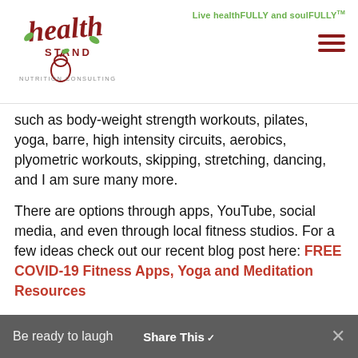Health Stand Nutrition Consulting Inc. — Live healthFULLY and soulFULLY™
such as body-weight strength workouts, pilates, yoga, barre, high intensity circuits, aerobics, plyometric workouts, skipping, stretching, dancing, and I am sure many more.
There are options through apps, YouTube, social media, and even through local fitness studios. For a few ideas check out our recent blog post here: FREE COVID-19 Fitness Apps, Yoga and Meditation Resources
3. Have Fun with it
Be ready to laugh at yourself if needed. This is meant to be fun. We are moving our bodies…
Share This